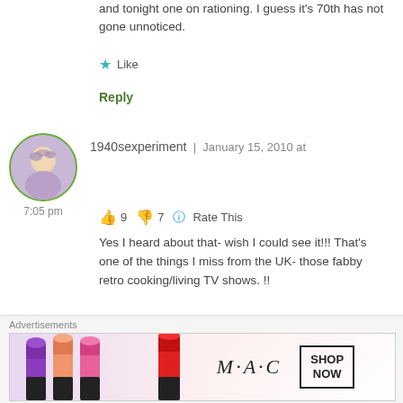and tonight one on rationing. I guess it’s 70th has not gone unnoticed.
★ Like
Reply
[Figure (photo): Circular avatar photo of 1940sexperiment commenter with green border]
1940sexperiment | January 15, 2010 at 7:05 pm
👍 9 👎 7 ⓘ Rate This
Yes I heard about that- wish I could see it!!! That’s one of the things I miss from the UK- those fabby retro cooking/living TV shows. !!
★ Like
[Figure (illustration): MAC cosmetics advertisement banner with lipsticks and SHOP NOW box]